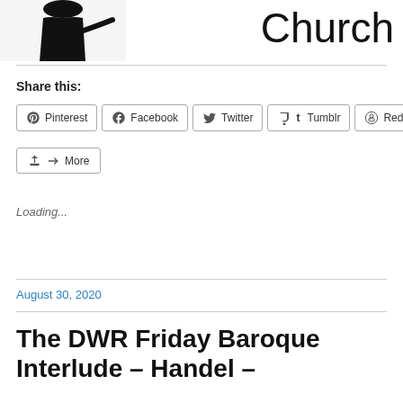[Figure (photo): Partial image of a person in black clothing on the left, and large text reading 'Church' on the right, shown at the top of the page.]
Share this:
Pinterest
Facebook
Twitter
Tumblr
Reddit
More
Loading...
August 30, 2020
The DWR Friday Baroque Interlude – Handel –